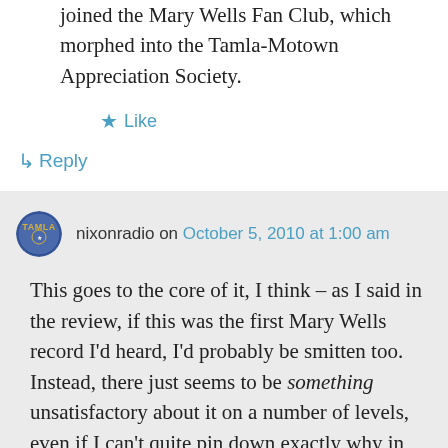joined the Mary Wells Fan Club, which morphed into the Tamla-Motown Appreciation Society.
★ Like
↳ Reply
nixonradio on October 5, 2010 at 1:00 am
This goes to the core of it, I think – as I said in the review, if this was the first Mary Wells record I'd heard, I'd probably be smitten too. Instead, there just seems to be something unsatisfactory about it on a number of levels, even if I can't quite pin down exactly why in every instance, or properly judge how damaging these